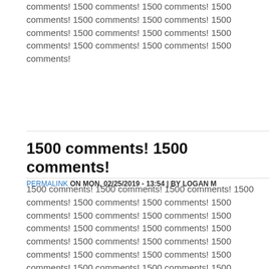comments! 1500 comments! 1500 comments! 1500 comments! 1500 comments! 1500 comments! 1500 comments! 1500 comments! 1500 comments! 1500 comments! 1500 comments! 1500 comments! 1500 comments!
1500 comments! 1500 comments!
PERMALINK ON MON, 02/25/2019 - 13:54 | BY LOGAN M
1500 comments! 1500 comments! 1500 comments! 1500 comments! 1500 comments! 1500 comments! 1500 comments! 1500 comments! 1500 comments! 1500 comments! 1500 comments! 1500 comments! 1500 comments! 1500 comments! 1500 comments! 1500 comments! 1500 comments! 1500 comments! 1500 comments! 1500 comments! 1500 comments! 1500 comments! 1500 comments! 1500 comments! 1500 comments! 1500 comments! 1500 comments! 1500 comments! 1500 comments! 1500 comments! 1500 comments! 1500 comments! 1500 comments! 1500 comments! 1500 comments! 1500